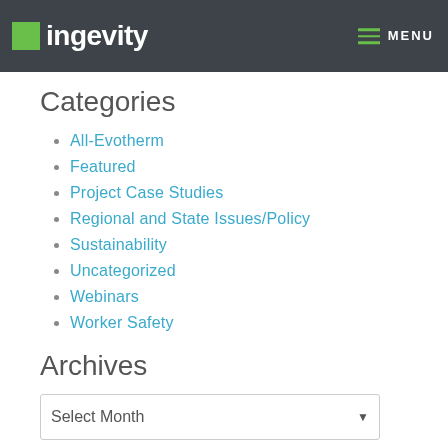Ingevity — MENU
Categories
All-Evotherm
Featured
Project Case Studies
Regional and State Issues/Policy
Sustainability
Uncategorized
Webinars
Worker Safety
Archives
Select Month